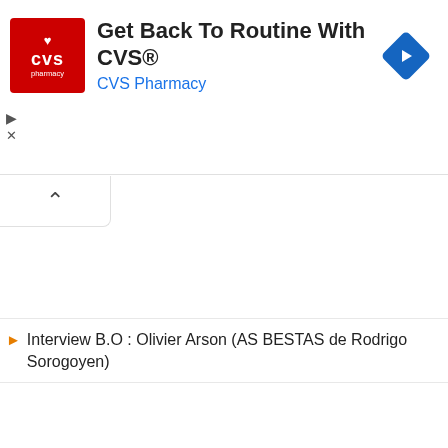[Figure (screenshot): CVS Pharmacy advertisement banner with red CVS pharmacy logo on the left, headline text 'Get Back To Routine With CVS®', subtext 'CVS Pharmacy' in blue, and a blue navigation diamond icon on the right.]
Interview B.O : Olivier Arson (AS BESTAS de Rodrigo Sorogoyen)